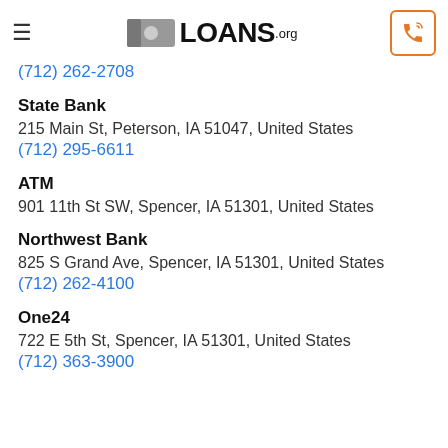Loans.org
(712) 262-2708
State Bank
215 Main St, Peterson, IA 51047, United States
(712) 295-6611
ATM
901 11th St SW, Spencer, IA 51301, United States
Northwest Bank
825 S Grand Ave, Spencer, IA 51301, United States
(712) 262-4100
One24
722 E 5th St, Spencer, IA 51301, United States
(712) 363-3900